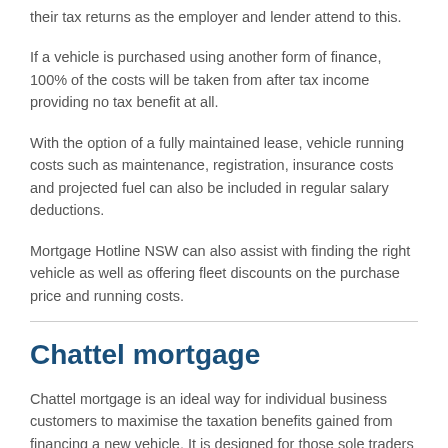their tax returns as the employer and lender attend to this.
If a vehicle is purchased using another form of finance, 100% of the costs will be taken from after tax income providing no tax benefit at all.
With the option of a fully maintained lease, vehicle running costs such as maintenance, registration, insurance costs and projected fuel can also be included in regular salary deductions.
Mortgage Hotline NSW can also assist with finding the right vehicle as well as offering fleet discounts on the purchase price and running costs.
Chattel mortgage
Chattel mortgage is an ideal way for individual business customers to maximise the taxation benefits gained from financing a new vehicle. It is designed for those sole traders and partnerships who account for their business operations on a cash basis and can be used for purchasing a new